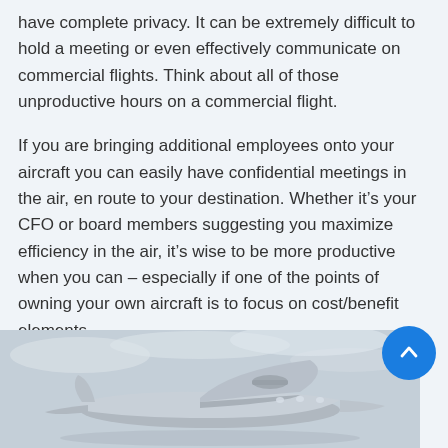have complete privacy. It can be extremely difficult to hold a meeting or even effectively communicate on commercial flights. Think about all of those unproductive hours on a commercial flight.
If you are bringing additional employees onto your aircraft you can easily have confidential meetings in the air, en route to your destination. Whether it's your CFO or board members suggesting you maximize efficiency in the air, it's wise to be more productive when you can – especially if one of the points of owning your own aircraft is to focus on cost/benefit elements.
[Figure (photo): A private jet aircraft photographed against a light grey cloudy sky, viewed from a low angle showing the underside and tail.]